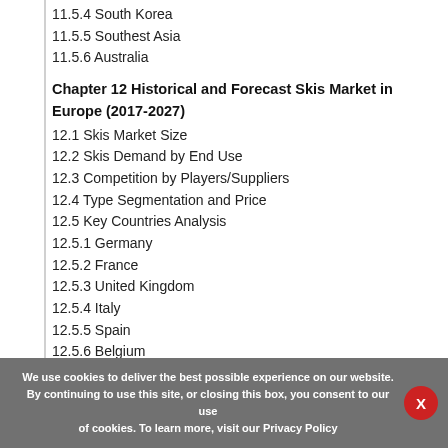11.5.4 South Korea
11.5.5 Southest Asia
11.5.6 Australia
Chapter 12 Historical and Forecast Skis Market in Europe (2017-2027)
12.1 Skis Market Size
12.2 Skis Demand by End Use
12.3 Competition by Players/Suppliers
12.4 Type Segmentation and Price
12.5 Key Countries Analysis
12.5.1 Germany
12.5.2 France
12.5.3 United Kingdom
12.5.4 Italy
12.5.5 Spain
12.5.6 Belgium
12.5.7 Netherlands
12.5.8 Austria
We use cookies to deliver the best possible experience on our website. By continuing to use this site, or closing this box, you consent to our use of cookies. To learn more, visit our Privacy Policy